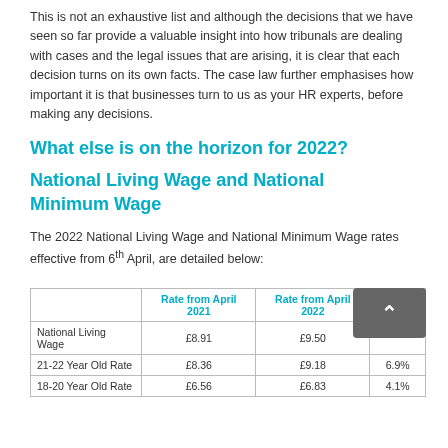This is not an exhaustive list and although the decisions that we have seen so far provide a valuable insight into how tribunals are dealing with cases and the legal issues that are arising, it is clear that each decision turns on its own facts. The case law further emphasises how important it is that businesses turn to us as your HR experts, before making any decisions.
What else is on the horizon for 2022?
National Living Wage and National Minimum Wage
The 2022 National Living Wage and National Minimum Wage rates effective from 6th April, are detailed below:
|  | Rate from April 2021 | Rate from April 2022 | Increase |
| --- | --- | --- | --- |
| National Living Wage | £8.91 | £9.50 | 6.6% |
| 21-22 Year Old Rate | £8.36 | £9.18 | 6.9% |
| 18-20 Year Old Rate | £6.56 | £6.83 | 4.1% |